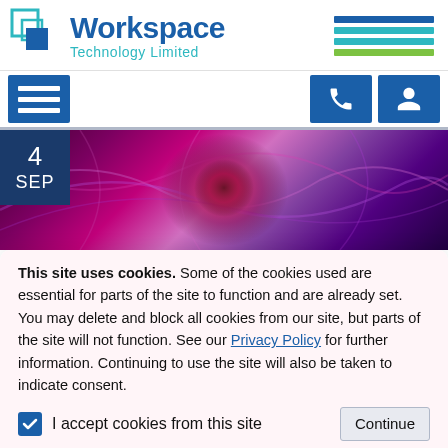[Figure (logo): Workspace Technology Limited logo with blue squares icon, blue and teal horizontal stripes on the right]
[Figure (infographic): Navigation bar with hamburger menu icon on left and phone/user icons on right, all in dark blue]
[Figure (photo): Hero image with glowing plasma/energy sphere on dark purple/red background, date badge showing 4 SEP]
This site uses cookies. Some of the cookies used are essential for parts of the site to function and are already set. You may delete and block all cookies from our site, but parts of the site will not function. See our Privacy Policy for further information. Continuing to use the site will also be taken to indicate consent.
I accept cookies from this site    Continue
Operating at 55% Efficiency time for Same Optimisation...